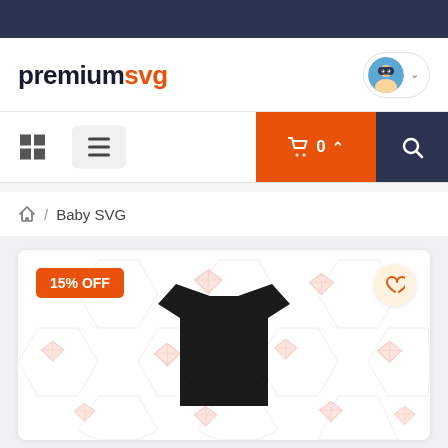[Figure (screenshot): Dark navy top bar strip]
[Figure (logo): premiumsvg logo — 'premium' in dark navy bold, 'svg' in orange bold]
[Figure (screenshot): Navigation bar with grid icon, hamburger menu, orange cart button showing '0', and dark search button]
/ Baby SVG
[Figure (screenshot): Product card with '15% OFF' badge, diamond pattern background, black t-shirt image, and heart wishlist button]